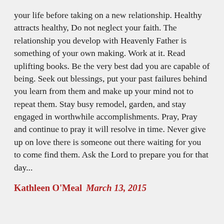your life before taking on a new relationship. Healthy attracts healthy, Do not neglect your faith. The relationship you develop with Heavenly Father is something of your own making. Work at it. Read uplifting books. Be the very best dad you are capable of being. Seek out blessings, put your past failures behind you learn from them and make up your mind not to repeat them. Stay busy remodel, garden, and stay engaged in worthwhile accomplishments. Pray, Pray and continue to pray it will resolve in time. Never give up on love there is someone out there waiting for you to come find them. Ask the Lord to prepare you for that day...
Kathleen O'Meal  March 13, 2015